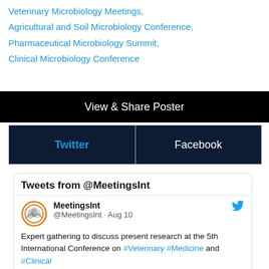Veterinary Microbiology Meetings,
Agricultural and Soil Microbiology Conference,
Pharmaceutical Microbiology Summit,
Clinical Microbiology Conference
View & Share Poster
Twitter
Facebook
Tweets from @MeetingsInt
MeetingsInt @MeetingsInt · Aug 10
Expert gathering to discuss present research at the 5th International Conference on #Veterinary #Medicine and #Clinical #Pathology on November 21-22, 2022 in